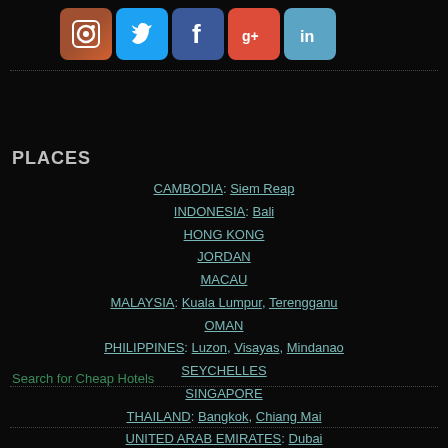[Figure (other): Row of 5 social media icons: Instagram, Twitter, Facebook, Google+, LinkedIn]
PLACES
CAMBODIA: Siem Reap
INDONESIA: Bali
HONG KONG
JORDAN
MACAU
MALAYSIA: Kuala Lumpur, Terengganu
OMAN
PHILIPPINES: Luzon, Visayas, Mindanao
SEYCHELLES
SINGAPORE
THAILAND: Bangkok, Chiang Mai
UNITED ARAB EMIRATES: Dubai
VIETNAM: Ho Chi Minh City, Mui Ne
Search for Cheap Hotels